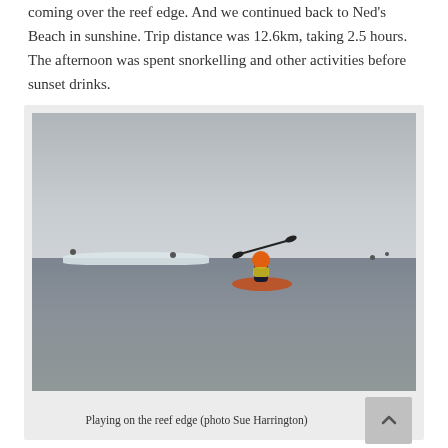coming over the reef edge. And we continued back to Ned's Beach in sunshine. Trip distance was 12.6km, taking 2.5 hours. The afternoon was spent snorkelling and other activities before sunset drinks.
[Figure (photo): A kayaker in an orange life vest paddling on grey open water near a reef edge, with waves breaking on a reef visible in the background and other kayakers in the distance under an overcast sky.]
Playing on the reef edge (photo Sue Harrington)